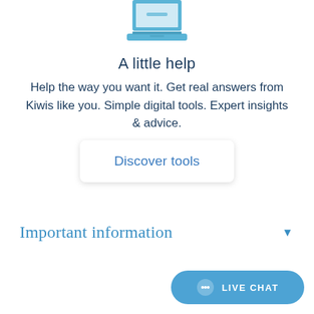[Figure (illustration): Laptop/computer icon in light blue at the top of the page, partially cropped]
A little help
Help the way you want it. Get real answers from Kiwis like you. Simple digital tools. Expert insights & advice.
[Figure (other): Discover tools button - white rounded rectangle button with blue text]
Important information
[Figure (other): LIVE CHAT button - blue rounded pill button with chat bubble icon and LIVE CHAT text in white]